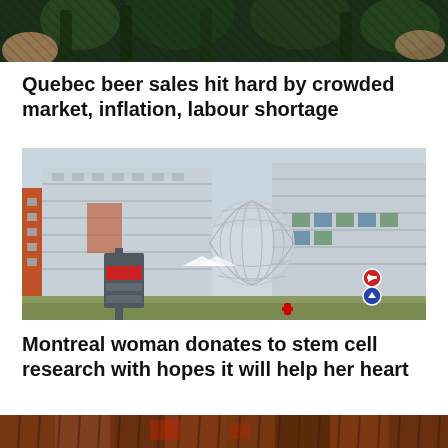[Figure (photo): Top partial photo showing hands holding items, dark green background, cropped at top]
Quebec beer sales hit hard by crowded market, inflation, labour shortage
[Figure (photo): Hospital or medical centre building exterior with modern architecture, orange and grey panels, a large metallic spherical sculpture in front, directional signage]
Montreal woman donates to stem cell research with hopes it will help her heart
[Figure (photo): Bottom partial photo, partially visible, warm brown/orange tones]